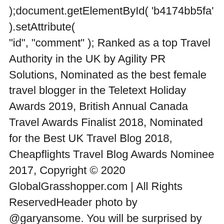);document.getElementById( 'b4174bb5fa' ).setAttribute( "id", "comment" ); Ranked as a top Travel Authority in the UK by Agility PR Solutions, Nominated as the best female travel blogger in the Teletext Holiday Awards 2019, British Annual Canada Travel Awards Finalist 2018, Nominated for the Best UK Travel Blog 2018, Cheapflights Travel Blog Awards Nominee 2017, Copyright © 2020 GlobalGrasshopper.com | All Rights ReservedHeader photo by @garyansome. You will be surprised by some of the unique things to do and places you can explore at this hidden destination. Hawkswood Road, Downham, Billericay CM11 1WT. If you were to go in a travel dictionary and look up 'stereotypical Home Counties village', chances are you would find a picture of Finchingfield. "Last summer there was a fabulous sculpture exhibition here and in the summer holidays our children have enjoyed a pre bookable tree climbing